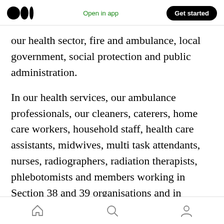Medium logo | Open in app | Get started
our health sector, fire and ambulance, local government, social protection and public administration.
In our health services, our ambulance professionals, our cleaners, caterers, home care workers, household staff, health care assistants, midwives, multi task attendants, nurses, radiographers, radiation therapists, phlebotomists and members working in Section 38 and 39 organisations and in residential and community based intellectual disability centres are all making a huge contribution to defeat
Home | Search | Profile